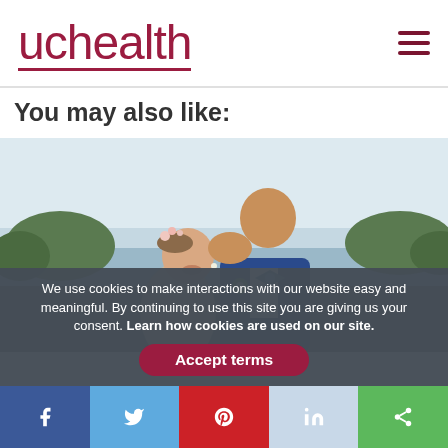uchealth
You may also like:
[Figure (photo): A couple at their wedding; the groom in a blue suit with floral bow tie and boutonniere kisses the bride on her forehead while she smiles, with a lake and trees in the background.]
We use cookies to make interactions with our website easy and meaningful. By continuing to use this site you are giving us your consent. Learn how cookies are used on our site.
Accept terms
f  [twitter bird]  [pinterest]  in  [share]